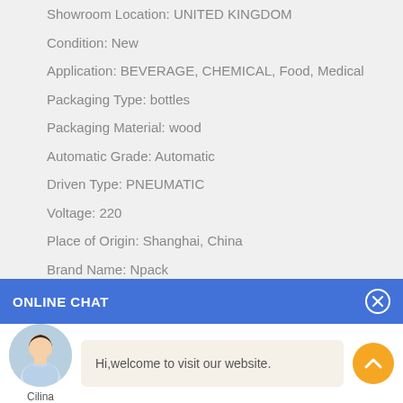Showroom Location: UNITED KINGDOM
Condition: New
Application: BEVERAGE, CHEMICAL, Food, Medical
Packaging Type: bottles
Packaging Material: wood
Automatic Grade: Automatic
Driven Type: PNEUMATIC
Voltage: 220
Place of Origin: Shanghai, China
Brand Name: Npack
Dimension(L*W*H): 2000*1100*1900mm
Weight: 500kg
Certification: CE
ONLINE CHAT
Hi,welcome to visit our website.
Cilina